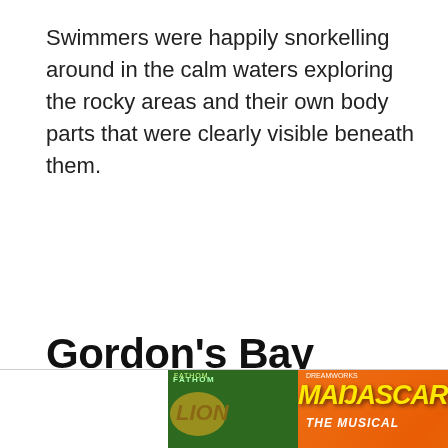Swimmers were happily snorkelling around in the calm waters exploring the rocky areas and their own body parts that were clearly visible beneath them.
Gordon's Bay
[Figure (screenshot): Advertisement banner for Madagascar The Musical at Capital One Hall, Tysons VA, May 26 at 6:30, with tickets button]